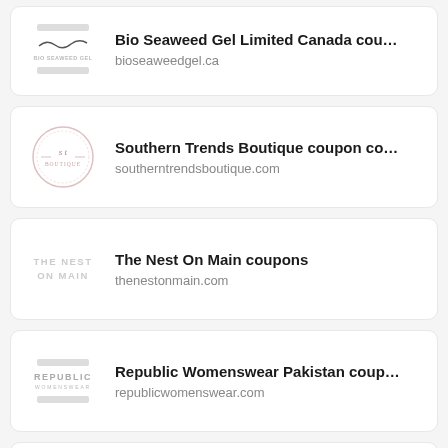Bio Seaweed Gel Limited Canada cou… bioseaweedgel.ca
Southern Trends Boutique coupon co… southerntrendsboutique.com
The Nest On Main coupons thenestonmain.com
Republic Womenswear Pakistan coup… republicwomenswear.com